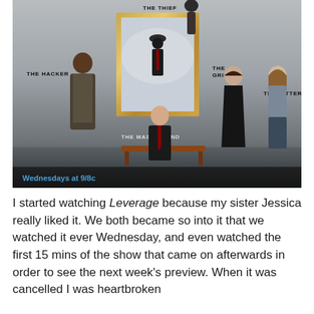[Figure (photo): Promotional poster for TV show Leverage showing five characters labeled: THE THIEF (top), THE HACKER (left), THE MASTERMIND (center, seated), THE GRIFTER (right of center), THE HITTER (far right). Text at bottom reads 'Wednesdays at 9/8c' in blue.]
I started watching Leverage because my sister Jessica really liked it. We both became so into it that we watched it ever Wednesday, and even watched the first 15 mins of the show that came on afterwards in order to see the next week's preview. When it was cancelled I was heartbroken